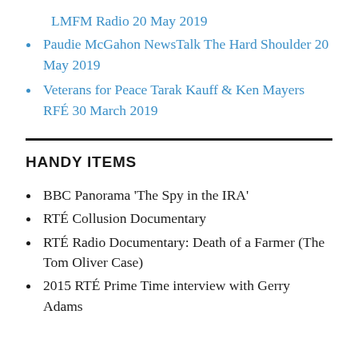LMFM Radio 20 May 2019
Paudie McGahon NewsTalk The Hard Shoulder 20 May 2019
Veterans for Peace Tarak Kauff & Ken Mayers RFÉ 30 March 2019
HANDY ITEMS
BBC Panorama 'The Spy in the IRA'
RTÉ Collusion Documentary
RTÉ Radio Documentary: Death of a Farmer (The Tom Oliver Case)
2015 RTÉ Prime Time interview with Gerry Adams